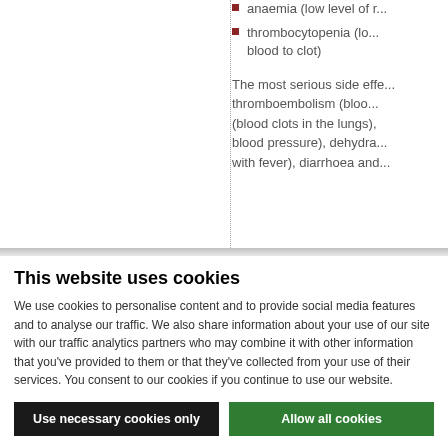anaemia (low level of r...
thrombocytopenia (lo... blood to clot)
The most serious side effe... thromboembolism (bloo... (blood clots in the lungs), blood pressure), dehydra... with fever), diarrhoea and...
This website uses cookies
We use cookies to personalise content and to provide social media features and to analyse our traffic. We also share information about your use of our site with our traffic analytics partners who may combine it with other information that you've provided to them or that they've collected from your use of their services. You consent to our cookies if you continue to use our website.
Use necessary cookies only | Allow all cookies | Show details